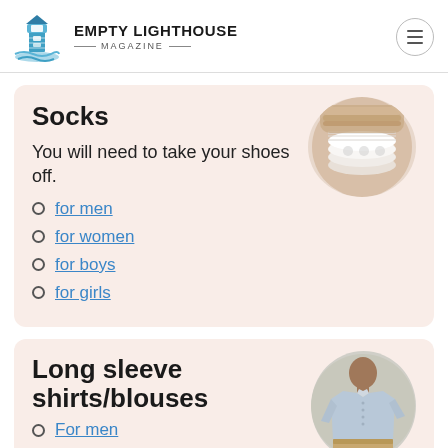EMPTY LIGHTHOUSE MAGAZINE
Socks
You will need to take your shoes off.
for men
for women
for boys
for girls
[Figure (photo): A pack of white ankle socks shown from above]
Long sleeve shirts/blouses
For men
[Figure (photo): A man wearing a light blue long sleeve button-up shirt]